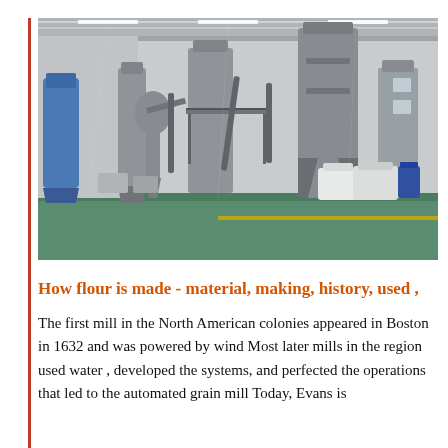[Figure (photo): Interior of a large industrial grain milling facility with metal silos, conveyors, hoppers, and processing equipment on a green-painted factory floor. White bulk bags are stacked in the background.]
How flour is made - material, making, history, used ,
The first mill in the North American colonies appeared in Boston in 1632 and was powered by wind Most later mills in the region used water , developed the systems, and perfected the operations that led to the automated grain mill Today, Evans is